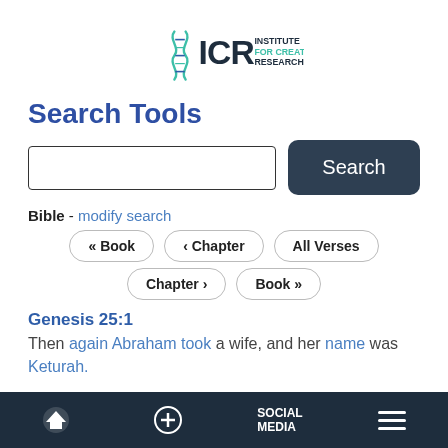[Figure (logo): ICR Institute for Creation Research logo with DNA helix icon]
Search Tools
Bible - modify search
« Book   ‹ Chapter   All Verses   Chapter ›   Book »
Genesis 25:1
Then again Abraham took a wife, and her name was Keturah.
Home | + | SOCIAL MEDIA | Menu